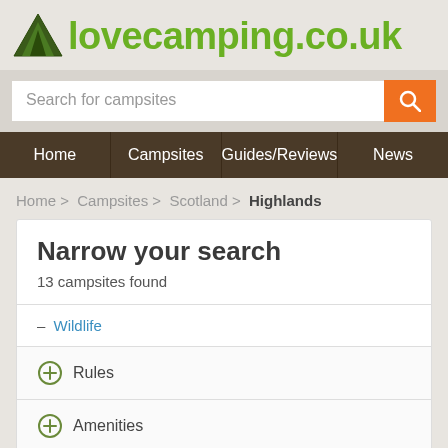[Figure (logo): lovecamping.co.uk logo with green tent icon and green text on grey background]
Search for campsites
Home | Campsites | Guides/Reviews | News
Home > Campsites > Scotland > Highlands
Narrow your search
13 campsites found
– Wildlife
+ Rules
+ Amenities
+ Near To